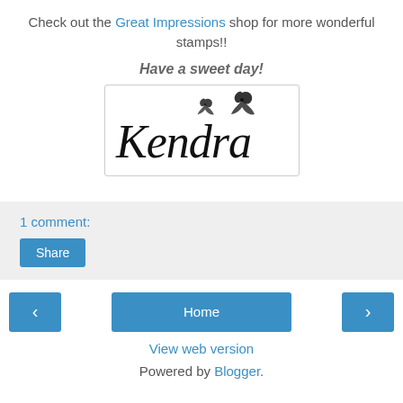Check out the Great Impressions shop for more wonderful stamps!!
Have a sweet day!
[Figure (illustration): Handwritten cursive signature reading 'Kendra' with two butterfly silhouettes above, inside a light-bordered rectangle]
1 comment:
Share
< Home > View web version Powered by Blogger.